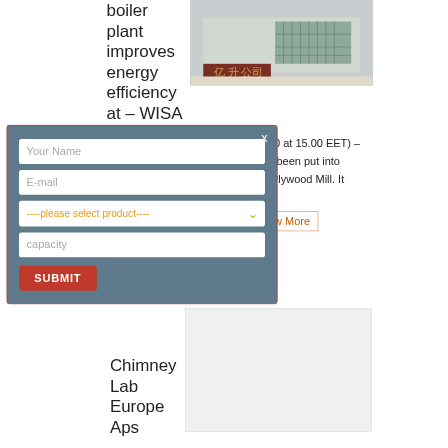boiler plant improves energy efficiency at – WISA Plywood
[Figure (photo): Photo of a building exterior with Chinese characters sign reading 亿升公司]
2020 at 15.00 EET) – has been put into uu Plywood Mill. It
ew More
Chimney Lab Europe Aps
[Figure (photo): Partially visible image box at bottom right]